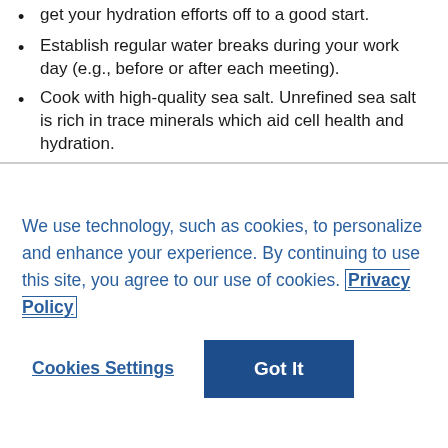get your hydration efforts off to a good start.
Establish regular water breaks during your work day (e.g., before or after each meeting).
Cook with high-quality sea salt. Unrefined sea salt is rich in trace minerals which aid cell health and hydration.
We use technology, such as cookies, to personalize and enhance your experience. By continuing to use this site, you agree to our use of cookies. Privacy Policy
Cookies Settings   Got It